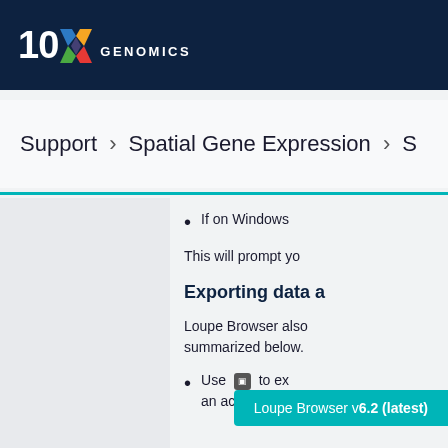10x GENOMICS
Support > Spatial Gene Expression > S
If on Windows
This will prompt yo
Exporting data a
Loupe Browser also summarized below.
Use [camera icon] to exp an active color
Loupe Browser v6.2 (latest)